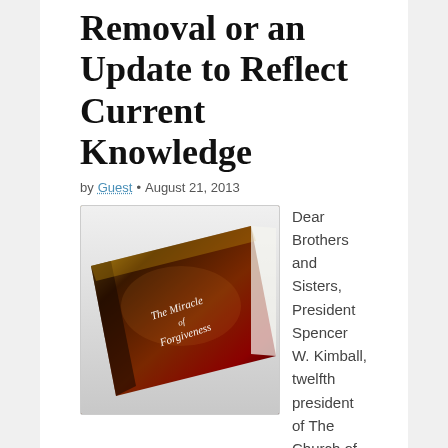Removal or an Update to Reflect Current Knowledge
by Guest • August 21, 2013
[Figure (photo): A photograph of the book 'The Miracle of Forgiveness' lying on a white surface, shown at an angle. The book has a dark reddish-brown cover with golden imagery.]
Dear Brothers and Sisters, President Spencer W. Kimball, twelfth president of The Church of Jesus Christ of Latter-day Saints, was a respected and patient man, going above and beyond in spending time listening and corresponding with Church members and non-members….
Read more